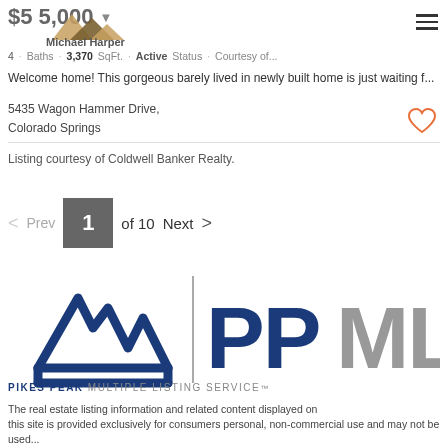$545,000 ▾
[Figure (logo): Michael Harper Real Estate logo with mountain peaks]
4 Beds · Baths · 3,370 SqFt. · Active Status · Courtesy of...
Welcome home! This gorgeous barely lived in newly built home is just waiting f...
5435 Wagon Hammer Drive,
Colorado Springs
Listing courtesy of Coldwell Banker Realty.
< Prev  1 of 10  Next >
[Figure (logo): Pikes Peak Multiple Listing Service (PPMLS) logo with mountain icon and text]
The real estate listing information and related content displayed on this site is provided exclusively for consumers personal, non-commercial use and may not be used...